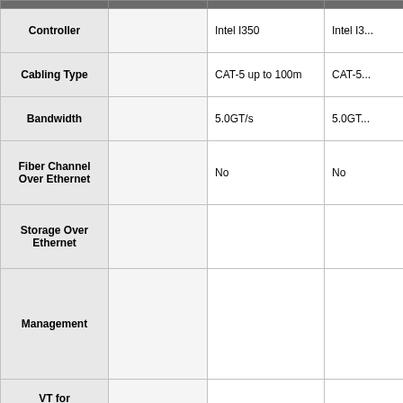|  |  | Column 1 | Column 2 |
| --- | --- | --- | --- |
| Controller |  | Intel I350 | Intel I3... |
| Cabling Type |  | CAT-5 up to 100m | CAT-5... |
| Bandwidth |  | 5.0GT/s | 5.0GT... |
| Fiber Channel Over Ethernet |  | No | No |
| Storage Over Ethernet |  |  |  |
| Management |  |  |  |
| VT for Connectivity (VT-c) |  |  |  |
| VT for Directed I/O (VT-d) |  | No | No |
| Virtual Machine Device Queues (VMDq) |  | Yes | Yes |
| Bracket Height |  | Low Profile and Full Height | Low P... |
| Dimensions (H x L) |  | 2.71" x 5.33" | 2.71" x... |